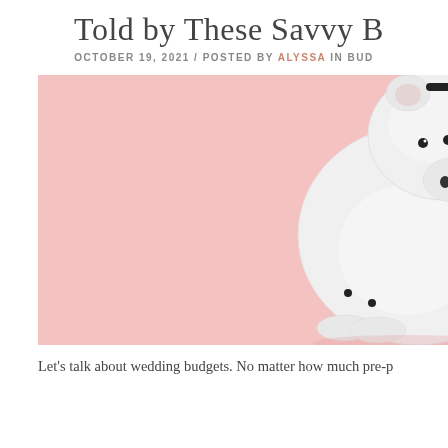Told by These Savvy B
OCTOBER 19, 2021 / POSTED BY ALYSSA IN BUD
[Figure (photo): A white ceramic piggy bank on a pink background, viewed from above and slightly to the right, showing the coin slot on top.]
Let's talk about wedding budgets. No matter how much pre-p